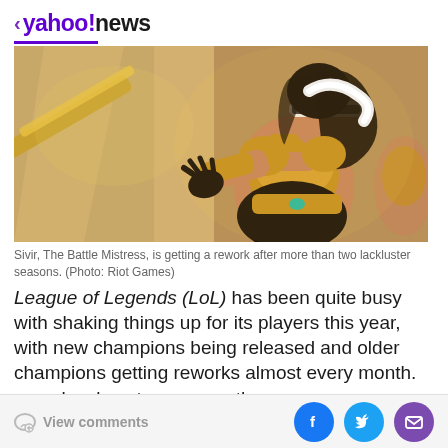< yahoo!news
[Figure (illustration): Game character Sivir, The Battle Mistress - a female warrior in gold armor with a blindfold, holding a weapon, from League of Legends by Riot Games]
Sivir, The Battle Mistress, is getting a rework after more than two lackluster seasons. (Photo: Riot Games)
League of Legends (LoL) has been quite busy with shaking things up for its players this year, with new champions being released and older champions getting reworks almost every month.
View comments